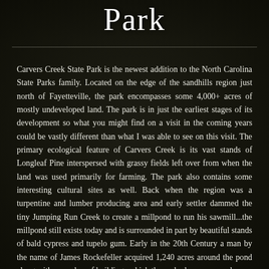Park
Carvers Creek State Park is the newest addition to the North Carolina State Parks family. Located on the edge of the sandhills region just north of Fayetteville, the park encompasses some 4,000+ acres of mostly undeveloped land. The park is in just the earliest stages of its development so what you might find on a visit in the coming years could be vastly different than what I was able to see on this visit. The primary ecological feature of Carvers Creek is its vast stands of Longleaf Pine interspersed with grassy fields left over from when the land was used primarily for farming. The park also contains some interesting cultural sites as well. Back when the region was a turpentine and lumber producing area and early settler dammed the tiny Jumping Run Creek to create a millpond to run his sawmill...the millpond still exists today and is surrounded in part by beautiful stands of bald cypress and tupelo gum. Early in the 20th Century a man by the name of James Rockefeller acquired 1,240 acres around the pond along with a number of buildings which the park plans on someday